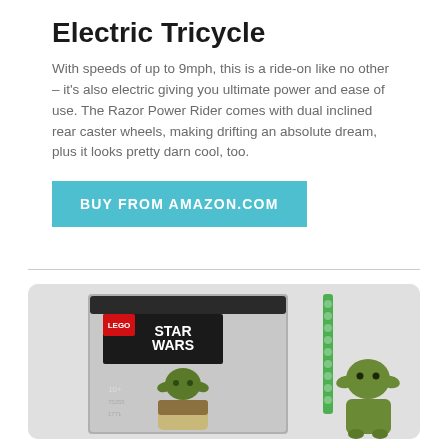Electric Tricycle
With speeds of up to 9mph, this is a ride-on like no other – it's also electric giving you ultimate power and ease of use. The Razor Power Rider comes with dual inclined rear caster wheels, making drifting an absolute dream, plus it looks pretty darn cool, too.
BUY FROM AMAZON.COM
[Figure (photo): LEGO Star Wars Yoda set box (set number 75255, ages 10+, 1771 pieces) alongside a built Yoda figure and a green lightsaber piece, displayed on a light gray rounded-corner background.]